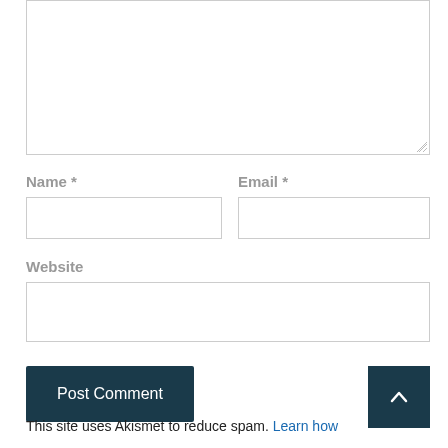[Figure (other): Comment textarea input box (partially visible, top portion cropped)]
Name *
Email *
[Figure (other): Name text input field]
[Figure (other): Email text input field]
Website
[Figure (other): Website text input field]
Post Comment
This site uses Akismet to reduce spam. Learn how